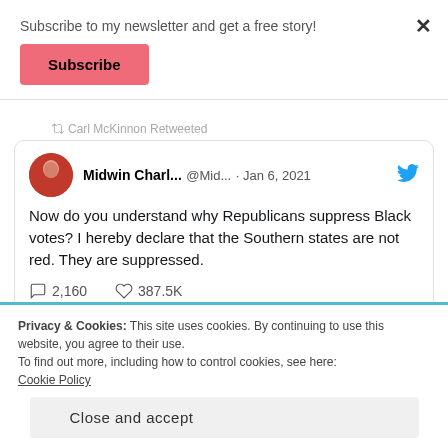Subscribe to my newsletter and get a free story!
Subscribe
Carl McKinnon Retweeted
Midwin Charl... @Mid... · Jan 6, 2021
Now do you understand why Republicans suppress Black votes? I hereby declare that the Southern states are not red. They are suppressed.
2,160   387.5K
Privacy & Cookies: This site uses cookies. By continuing to use this website, you agree to their use.
To find out more, including how to control cookies, see here:
Cookie Policy
Close and accept